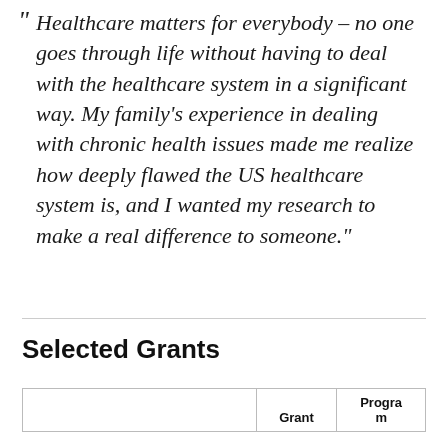“Healthcare matters for everybody – no one goes through life without having to deal with the healthcare system in a significant way. My family's experience in dealing with chronic health issues made me realize how deeply flawed the US healthcare system is, and I wanted my research to make a real difference to someone.”
Selected Grants
|  | Grant | Program |
| --- | --- | --- |